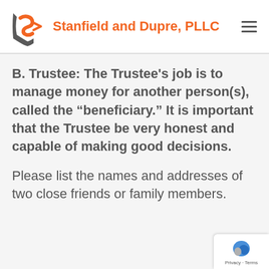Stanfield and Dupre, PLLC
B. Trustee: The Trustee’s job is to manage money for another person(s), called the “beneficiary.” It is important that the Trustee be very honest and capable of making good decisions.
Please list the names and addresses of two close friends or family members.